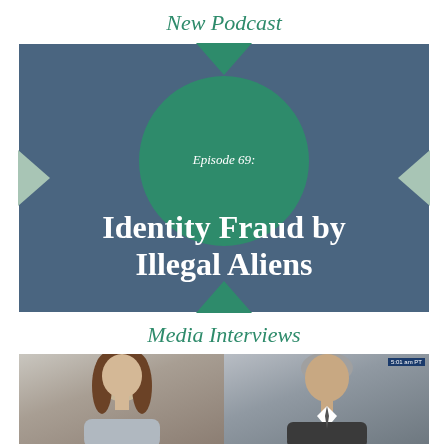New Podcast
[Figure (illustration): Podcast episode cover image with dark blue-gray background, green decorative arrows/chevrons at top, bottom, left, right, a large green circle in the upper center with text 'Episode 69:' and below the circle large white bold text 'Identity Fraud by Illegal Aliens']
Media Interviews
[Figure (photo): Side-by-side photos of two people: a woman with long brown hair on the left (light background), and an older man with gray hair on the right (darker/studio background), with a small blue watermark in the upper right corner of the right photo]